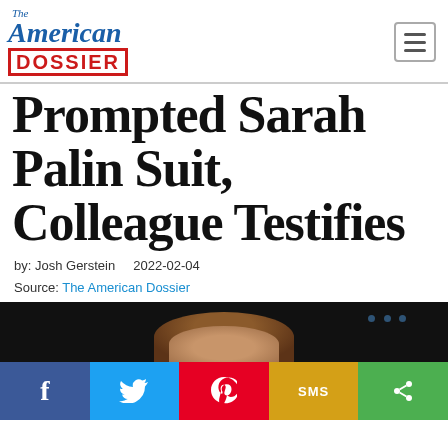[Figure (logo): The American Dossier logo with blue italic text and red boxed DOSSIER]
Prompted Sarah Palin Suit, Colleague Testifies
by: Josh Gerstein    2022-02-04
Source: The American Dossier
[Figure (photo): A woman (Sarah Palin) photographed against a dark/blue background]
[Figure (infographic): Social sharing bar with Facebook, Twitter, Pinterest, SMS, and Share buttons]